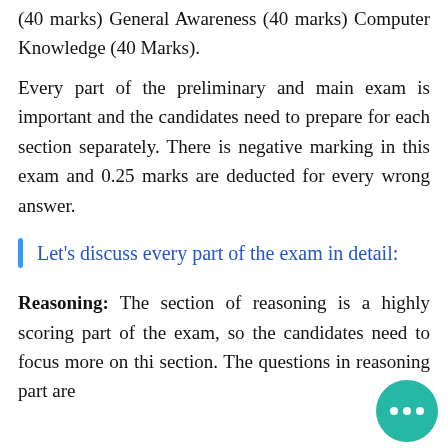(40 marks) General Awareness (40 marks) Computer Knowledge (40 Marks).
Every part of the preliminary and main exam is important and the candidates need to prepare for each section separately. There is negative marking in this exam and 0.25 marks are deducted for every wrong answer.
Let’s discuss every part of the exam in detail:
Reasoning: The section of reasoning is a highly scoring part of the exam, so the candidates need to focus more on this section. The questions in reasoning part are